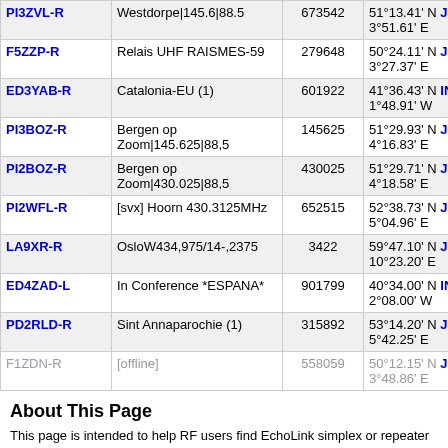| Call | Location/Description | Node | Coordinates | Freq |
| --- | --- | --- | --- | --- |
| PI3ZVL-R | Westdorpe|145.6|88.5 | 673542 | 51°13.41' N JO11wn 3°51.61' E | 41... |
| F5ZZP-R | Relais UHF RAISMES-59 | 279648 | 50°24.11' N JO10rj 3°27.37' E | 415 |
| ED3YAB-R | Catalonia-EU (1) | 601922 | 41°36.43' N IN91co 1°48.91' W | 415 |
| PI3BOZ-R | Bergen op Zoom|145.625|88,5 | 145625 | 51°29.93' N JO21dl 4°16.83' E | 415 |
| PI2BOZ-R | Bergen op Zoom|430.025|88,5 | 430025 | 51°29.71' N JO21dl 4°18.58' E | 416 |
| PI2WFL-R | [svx] Hoorn 430.3125MHz | 652515 | 52°38.73' N JO22mp 5°04.96' E | 416 |
| LA9XR-R | OsloW434,975/14-,2375 | 3422 | 59°47.10' N JO59es 10°23.20' E | 416 |
| ED4ZAD-L | In Conference *ESPANA* | 901799 | 40°34.00' N IN80wn 2°08.00' W | 416 |
| PD2RLD-R | Sint Annaparochie (1) | 315892 | 53°14.20' N JO23uf 5°42.25' E | 417 |
| F1ZDN-R | [offline] | 558059 | 50°12.15' N JO10ve 3°48.86' E | 417 |
About This Page
This page is intended to help RF users find EchoLink simplex or repeater link...
The table above shows information collected during the past several minutes... only stations shown are those which have entered location information on the... viewed here.